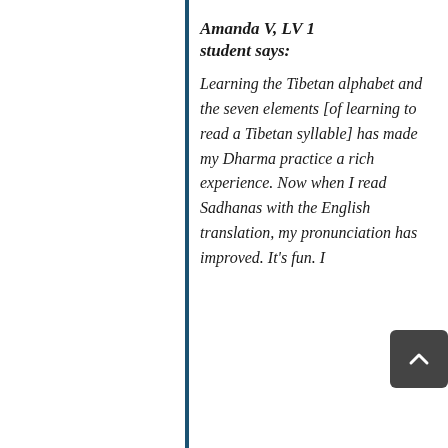Amanda V, LV 1 student says: Learning the Tibetan alphabet and the seven elements [of learning to read a Tibetan syllable] has made my Dharma practice a rich experience. Now when I read Sadhanas with the English translation, my pronunciation has improved. It's fun. I